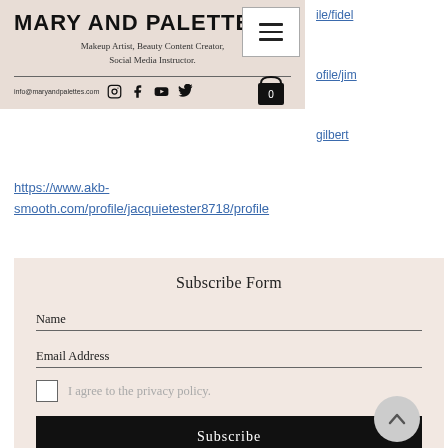MARY AND PALETTES
Makeup Artist, Beauty Content Creator,
Social Media Instructor.
info@maryandpalettes.com
ile/fidel
ofile/jim
gilbert
https://www.akb-smooth.com/profile/jacquietester8718/profile
Subscribe Form
Name
Email Address
I agree to the privacy policy.
Subscribe